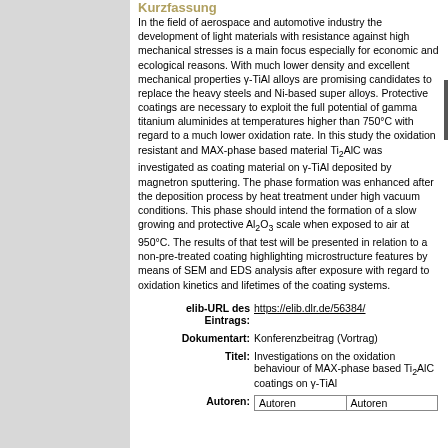Kurzfassung
In the field of aerospace and automotive industry the development of light materials with resistance against high mechanical stresses is a main focus especially for economic and ecological reasons. With much lower density and excellent mechanical properties γ-TiAl alloys are promising candidates to replace the heavy steels and Ni-based super alloys. Protective coatings are necessary to exploit the full potential of gamma titanium aluminides at temperatures higher than 750°C with regard to a much lower oxidation rate. In this study the oxidation resistant and MAX-phase based material Ti₂AlC was investigated as coating material on γ-TiAl deposited by magnetron sputtering. The phase formation was enhanced after the deposition process by heat treatment under high vacuum conditions. This phase should intend the formation of a slow growing and protective Al₂O₃ scale when exposed to air at 950°C. The results of that test will be presented in relation to a non-pre-treated coating highlighting microstructure features by means of SEM and EDS analysis after exposure with regard to oxidation kinetics and lifetimes of the coating systems.
| elib-URL des Eintrags: | https://elib.dlr.de/56384/ |
| Dokumentart: | Konferenzbeitrag (Vortrag) |
| Titel: | Investigations on the oxidation behaviour of MAX-phase based Ti₂AlC coatings on γ-TiAl |
| Autoren: | [Autoren table header row] |